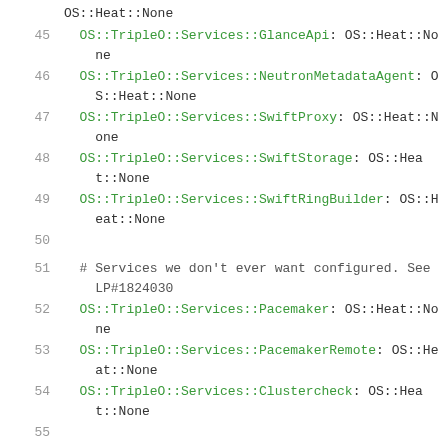OS::Heat::None
45   OS::TripleO::Services::GlanceApi: OS::Heat::None
46   OS::TripleO::Services::NeutronMetadataAgent: OS::Heat::None
47   OS::TripleO::Services::SwiftProxy: OS::Heat::None
48   OS::TripleO::Services::SwiftStorage: OS::Heat::None
49   OS::TripleO::Services::SwiftRingBuilder: OS::Heat::None
50
51   # Services we don't ever want configured. See LP#1824030
52   OS::TripleO::Services::Pacemaker: OS::Heat::None
53   OS::TripleO::Services::PacemakerRemote: OS::Heat::None
54   OS::TripleO::Services::Clustercheck: OS::Heat::None
55
56   # Ensure non-pacemaker versions. See LP#1824030